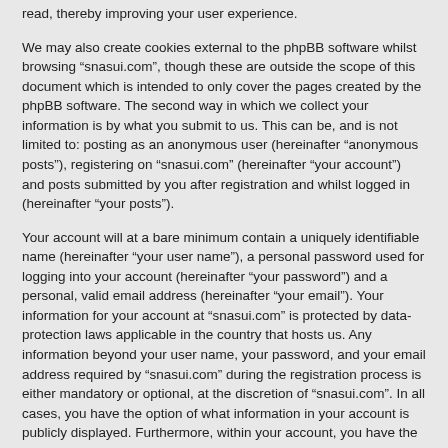read, thereby improving your user experience.
We may also create cookies external to the phpBB software whilst browsing “snasui.com”, though these are outside the scope of this document which is intended to only cover the pages created by the phpBB software. The second way in which we collect your information is by what you submit to us. This can be, and is not limited to: posting as an anonymous user (hereinafter “anonymous posts”), registering on “snasui.com” (hereinafter “your account”) and posts submitted by you after registration and whilst logged in (hereinafter “your posts”).
Your account will at a bare minimum contain a uniquely identifiable name (hereinafter “your user name”), a personal password used for logging into your account (hereinafter “your password”) and a personal, valid email address (hereinafter “your email”). Your information for your account at “snasui.com” is protected by data-protection laws applicable in the country that hosts us. Any information beyond your user name, your password, and your email address required by “snasui.com” during the registration process is either mandatory or optional, at the discretion of “snasui.com”. In all cases, you have the option of what information in your account is publicly displayed. Furthermore, within your account, you have the option to opt-in or opt-out of automatically generated emails from the phpBB software.
Your password is ciphered (a one-way hash) so that it is secure. However, it is recommended that you do not reuse the same password across a number of different websites. Your password is the means of accessing your account at “snasui.com”, so please guard it carefully and under no circumstances will